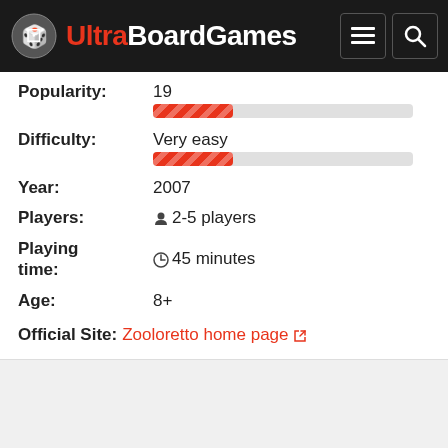[Figure (logo): UltraBoardGames website header with logo, hamburger menu icon, and search icon on dark background]
Popularity: 19
Difficulty: Very easy
Year: 2007
Players: 2-5 players
Playing time: 45 minutes
Age: 8+
Official Site: Zooloretto home page